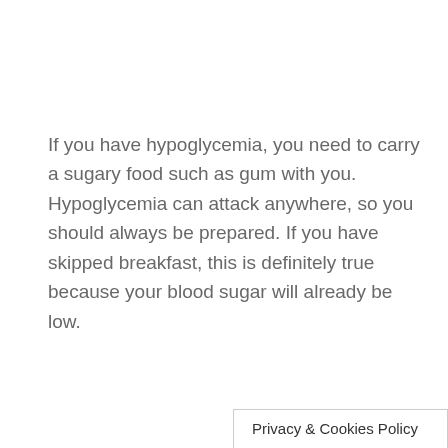If you have hypoglycemia, you need to carry a sugary food such as gum with you. Hypoglycemia can attack anywhere, so you should always be prepared. If you have skipped breakfast, this is definitely true because your blood sugar will already be low.
Privacy & Cookies Policy